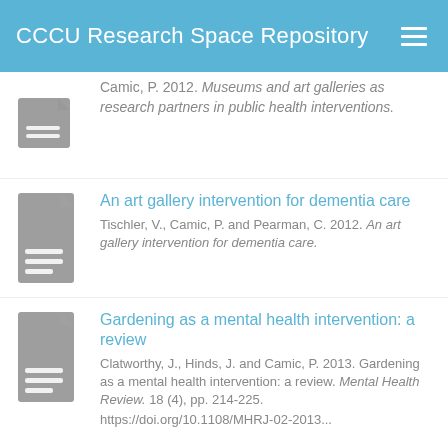CCCU Research Space Repository
Camic, P. 2012. Museums and art galleries as research partners in public health interventions.
An art gallery intervention for dementia care
Tischler, V., Camic, P. and Pearman, C. 2012. An art gallery intervention for dementia care.
Gardening as a mental health intervention: a review
Clatworthy, J., Hinds, J. and Camic, P. 2013. Gardening as a mental health intervention: a review. Mental Health Review. 18 (4), pp. 214-225.
https://doi.org/10.1108/MHRJ-02-2013...